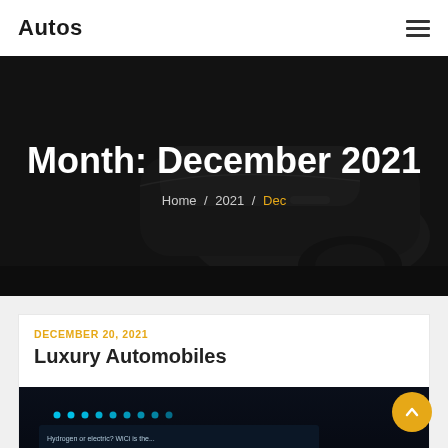Autos
Month: December 2021
Home / 2021 / Dec
DECEMBER 20, 2021
Luxury Automobiles
[Figure (photo): Dark image of a luxury car interior/display showing glowing blue dots and text referencing Hydrogen]